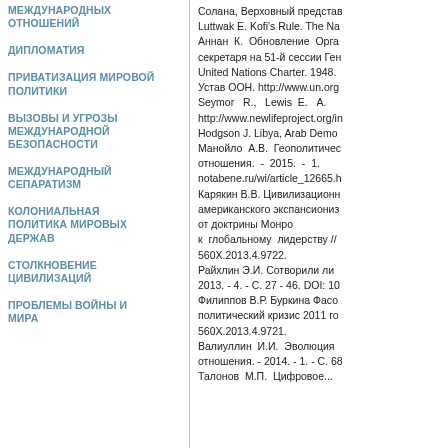МЕЖДУНАРОДНЫХ ОТНОШЕНИЙ
ДИПЛОМАТИЯ
ПРИВАТИЗАЦИЯ МИРОВОЙ ПОЛИТИКИ
ВЫЗОВЫ И УГРОЗЫ МЕЖДУНАРОДНОЙ БЕЗОПАСНОСТИ
МЕЖДУНАРОДНЫЙ СЕПАРАТИЗМ
КОЛОНИАЛЬНАЯ ПОЛИТИКА МИРОВЫХ ДЕРЖАВ
СТОЛКНОВЕНИЕ ЦИВИЛИЗАЦИЙ
ПРОБЛЕМЫ ВОЙНЫ И МИРА
Солана, Верховный представ... Luttwak E. Kofi's Rule. The Na... Аннан К. Обновление Орга... секретаря на 51-й сессии Ген... United Nations Charter. 1948. Устав ООН. http://www.un.org... Seymor R., Lewis E. А... http://www.newlifeproject.org/in... Hodgson J. Libya, Arab Demo... Манойло А.В. Геополитичес... отношения. - 2015. - 1.... notabene.ru/wi/article_12665.h... Карякин В.В. Цивилизационн... американского экспансиониз... от доктрины Монро к глобальному лидерству // ... 560X.2013.4.9722. Райхлин Э.И. Сотворили ли... 2013. - 4. - С. 27 - 46. DOI: 10... Филиппов В.Р. Буркина Фасо... политический кризис 2011 го... 560X.2013.4.9721. Валиуллин И.И. Эволюция ... отношения. - 2014. - 1. - С. 68... Талонов М.П. Цифровое...